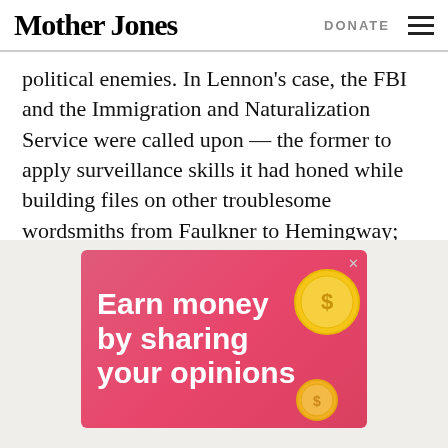Mother Jones | DONATE
political enemies. In Lennon's case, the FBI and the Immigration and Naturalization Service were called upon — the former to apply surveillance skills it had honed while building files on other troublesome wordsmiths from Faulkner to Hemingway; the latter to immerse the rabble-rousing Liverpudlian in nightmarish bureaucratic entanglements.
[Figure (other): Advertisement banner with pink/red gradient background showing text 'Earn money by sharing your opinions' with gold coin graphics]